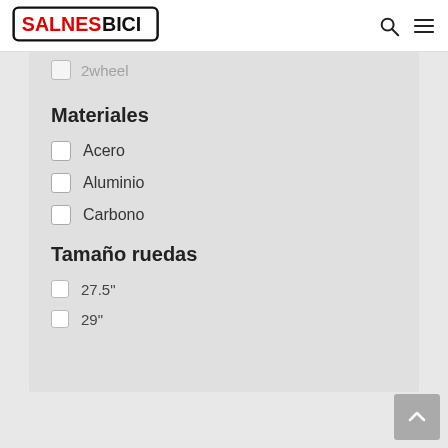SALNESBICI
2wheel
Materiales
Acero
Aluminio
Carbono
Tamaño ruedas
27.5"
29"